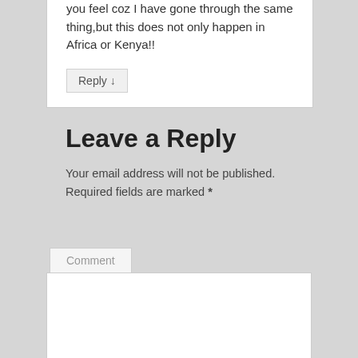you feel coz I have gone through the same thing,but this does not only happen in Africa or Kenya!!
Reply ↓
Leave a Reply
Your email address will not be published. Required fields are marked *
Comment